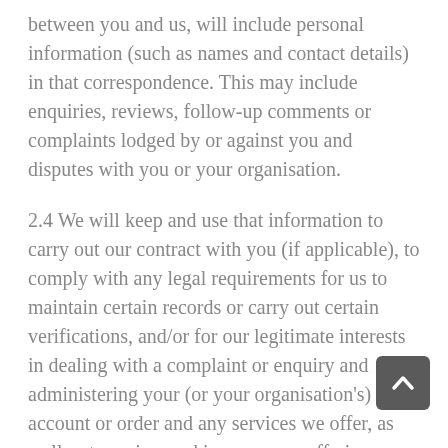between you and us, will include personal information (such as names and contact details) in that correspondence. This may include enquiries, reviews, follow-up comments or complaints lodged by or against you and disputes with you or your organisation.
2.4 We will keep and use that information to carry out our contract with you (if applicable), to comply with any legal requirements for us to maintain certain records or carry out certain verifications, and/or for our legitimate interests in dealing with a complaint or enquiry and administering your (or your organisation's) account or order and any services we offer, as well as to review and improve our offerings, including troubleshooting, data analysis, testing, research